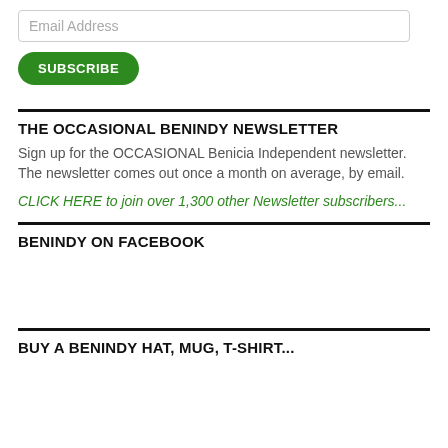[Figure (screenshot): Email address input field with placeholder text 'Email Address']
[Figure (screenshot): Green rounded SUBSCRIBE button]
THE OCCASIONAL BENINDY NEWSLETTER
Sign up for the OCCASIONAL Benicia Independent newsletter.  The newsletter comes out once a month on average, by email.
CLICK HERE to join over 1,300 other Newsletter subscribers...
BENINDY ON FACEBOOK
BUY A BENINDY HAT, MUG, T-SHIRT...